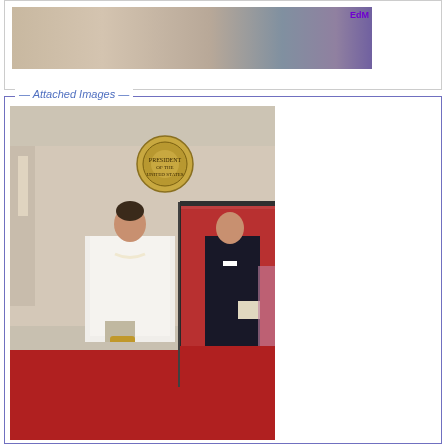[Figure (photo): Partial photo at top of page showing people seated, with a purple 'EdM' watermark in the top right corner]
Attached Images
[Figure (photo): Photo of a woman in a white pantsuit standing on a red carpet in front of the Presidential seal, with a man in a tuxedo walking through a doorway behind her]